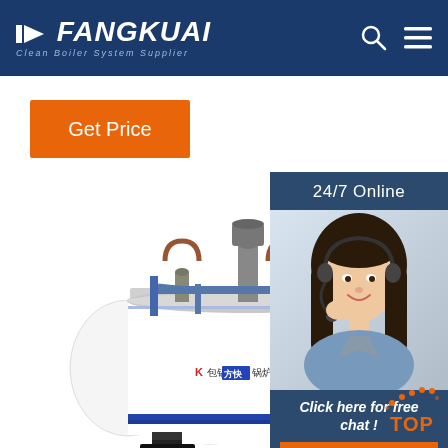FANGKUAI - Clean Boiler System Supplier
[Figure (logo): FANGKUAI logo with left-pointing arrow, white text on dark blue background, subtitle: Clean Boiler System Supplier]
Get Price
[Figure (photo): Customer service representative with headset, 24/7 Online panel, Click here for free chat, QUOTATION button]
[Figure (photo): White horizontal industrial boiler/pressure vessel with blue stripe and Chinese text, mounted on black stands, viewed from the side]